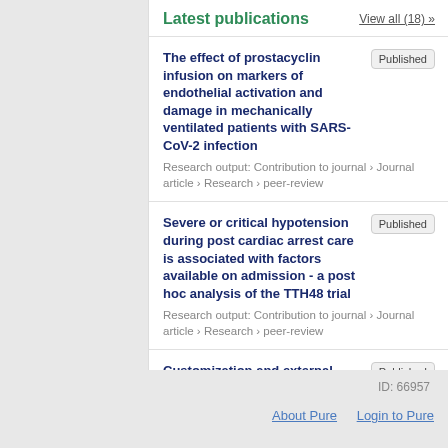Latest publications
View all (18) »
The effect of prostacyclin infusion on markers of endothelial activation and damage in mechanically ventilated patients with SARS-CoV-2 infection | Published | Research output: Contribution to journal › Journal article › Research › peer-review
Severe or critical hypotension during post cardiac arrest care is associated with factors available on admission - a post hoc analysis of the TTH48 trial | Published | Research output: Contribution to journal › Journal article › Research › peer-review
Customization and external validation of the Simplified Mortality Score for the Intensive Care Unit (SMS-ICU) in Brazilian critically ill patients | Published | Research output: Contribution to journal › Journal article › Research › peer-review
ID: 66957
About Pure   Login to Pure